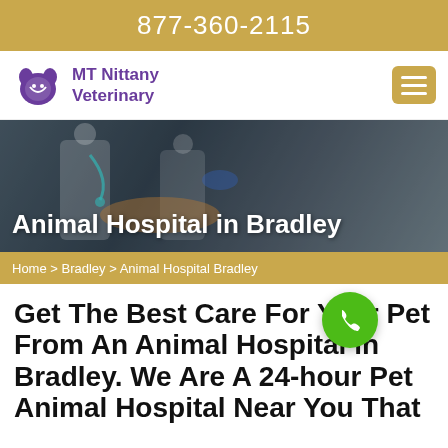877-360-2115
[Figure (logo): MT Nittany Veterinary logo with purple pet/heart icon and purple text]
[Figure (photo): Veterinarians in white coats examining a golden/orange dog on a table, with blue gloves, stethoscope visible]
Animal Hospital in Bradley
Home > Bradley > Animal Hospital Bradley
Get The Best Care For Your Pet From An Animal Hospital in Bradley. We Are A 24-hour Pet Animal Hospital Near You That